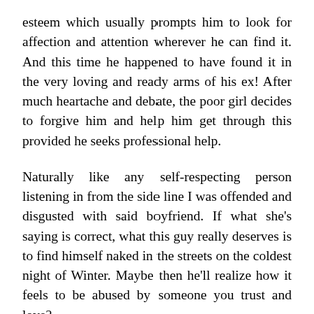esteem which usually prompts him to look for affection and attention wherever he can find it. And this time he happened to have found it in the very loving and ready arms of his ex! After much heartache and debate, the poor girl decides to forgive him and help him get through this provided he seeks professional help.
Naturally like any self-respecting person listening in from the side line I was offended and disgusted with said boyfriend. If what she's saying is correct, what this guy really deserves is to find himself naked in the streets on the coldest night of Winter. Maybe then he'll realize how it feels to be abused by someone you trust and love?
Now listen to this: The poor girl must constantly keep an eye on him lest of course he feels neglected and go back to his ex. Naturally with all this going on she feels like